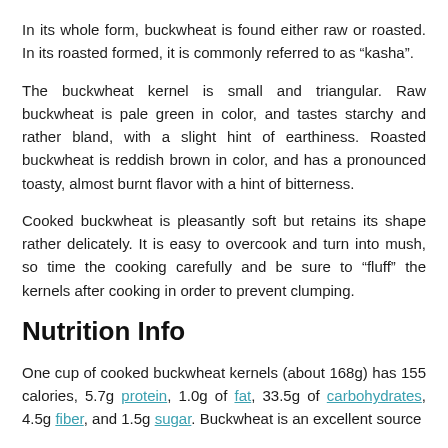In its whole form, buckwheat is found either raw or roasted. In its roasted formed, it is commonly referred to as “kasha”.
The buckwheat kernel is small and triangular. Raw buckwheat is pale green in color, and tastes starchy and rather bland, with a slight hint of earthiness. Roasted buckwheat is reddish brown in color, and has a pronounced toasty, almost burnt flavor with a hint of bitterness.
Cooked buckwheat is pleasantly soft but retains its shape rather delicately. It is easy to overcook and turn into mush, so time the cooking carefully and be sure to “fluff” the kernels after cooking in order to prevent clumping.
Nutrition Info
One cup of cooked buckwheat kernels (about 168g) has 155 calories, 5.7g protein, 1.0g of fat, 33.5g of carbohydrates, 4.5g fiber, and 1.5g sugar. Buckwheat is an excellent source